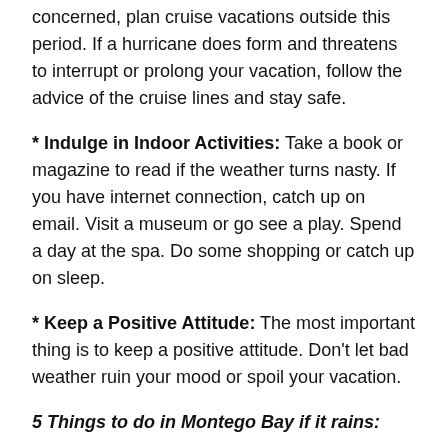concerned, plan cruise vacations outside this period. If a hurricane does form and threatens to interrupt or prolong your vacation, follow the advice of the cruise lines and stay safe.
* Indulge in Indoor Activities: Take a book or magazine to read if the weather turns nasty. If you have internet connection, catch up on email. Visit a museum or go see a play. Spend a day at the spa. Do some shopping or catch up on sleep.
* Keep a Positive Attitude: The most important thing is to keep a positive attitude. Don't let bad weather ruin your mood or spoil your vacation.
5 Things to do in Montego Bay if it rains:
* Take a taxi to one of the Great Houses – Both Rose...